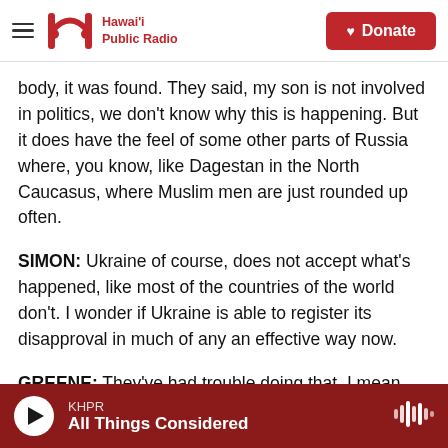Hawai'i Public Radio — Donate
body, it was found. They said, my son is not involved in politics, we don't know why this is happening. But it does have the feel of some other parts of Russia where, you know, like Dagestan in the North Caucasus, where Muslim men are just rounded up often.
SIMON: Ukraine of course, does not accept what's happened, like most of the countries of the world don't. I wonder if Ukraine is able to register its disapproval in much of any an effective way now.
GREENE: They've had trouble doing that. I mean,
KHPR — All Things Considered